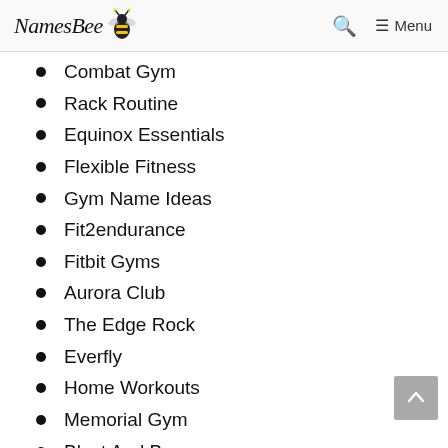NamesBee — Menu
Combat Gym
Rack Routine
Equinox Essentials
Flexible Fitness
Gym Name Ideas
Fit2endurance
Fitbit Gyms
Aurora Club
The Edge Rock
Everfly
Home Workouts
Memorial Gym
Blast And Burn
Bulldogs Boxing Club
Hollywood Fitness